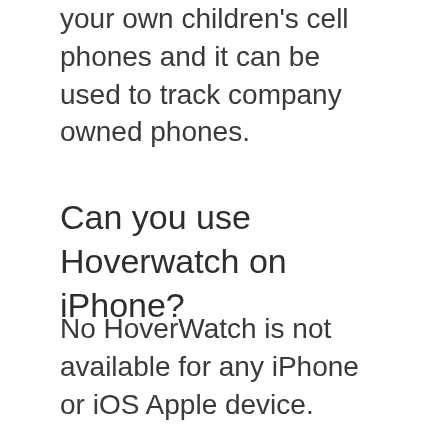your own children's cell phones and it can be used to track company owned phones.
Can you use Hoverwatch on iPhone?
No HoverWatch is not available for any iPhone or iOS Apple device.
Alternatives to HoverWatch
On AcisNI I only recommend programs that I have fully tested and can stand over as reliable. For that reason the list